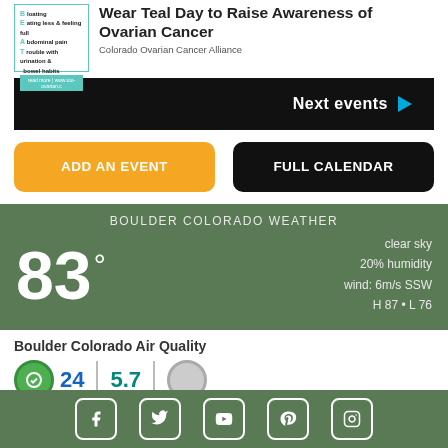[Figure (infographic): Ovarian cancer awareness thumbnail with BEAT acronym list and teal border]
Wear Teal Day to Raise Awareness of Ovarian Cancer
Colorado Ovarian Cancer Alliance
Next events ▶
ADD AN EVENT
FULL CALENDAR
BOULDER COLORADO WEATHER
83° clear sky 20% humidity wind: 6m/s SSW H 87 • L 76
Boulder Colorado Air Quality
24  5.7
[Figure (infographic): Social media icons: Facebook, Twitter, YouTube, Pinterest, Instagram in rounded squares on green footer bar]